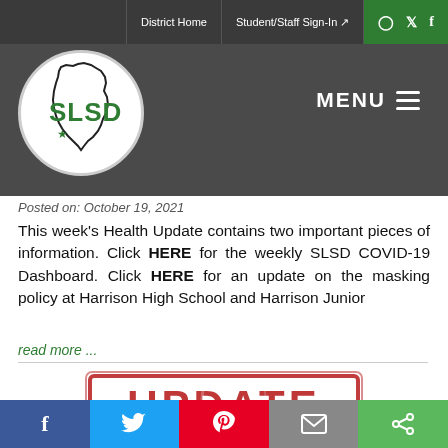District Home | Student/Staff Sign-In
[Figure (logo): SLSD school district logo — circular white badge with Ohio state outline and green SLSD letters with star]
Posted on: October 19, 2021
This week's Health Update contains two important pieces of information. Click HERE for the weekly SLSD COVID-19 Dashboard. Click HERE for an update on the masking policy at Harrison High School and Harrison Junior
read more ...
[Figure (illustration): Red rubber stamp image reading UPDATE in bold distressed letters inside a rectangular border]
Social share buttons: Facebook, Twitter, Pinterest, Email, Share